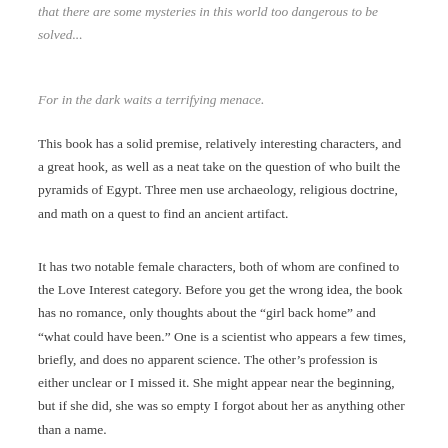that there are some mysteries in this world too dangerous to be solved...
For in the dark waits a terrifying menace.
This book has a solid premise, relatively interesting characters, and a great hook, as well as a neat take on the question of who built the pyramids of Egypt. Three men use archaeology, religious doctrine, and math on a quest to find an ancient artifact.
It has two notable female characters, both of whom are confined to the Love Interest category. Before you get the wrong idea, the book has no romance, only thoughts about the “girl back home” and “what could have been.” One is a scientist who appears a few times, briefly, and does no apparent science. The other’s profession is either unclear or I missed it. She might appear near the beginning, but if she did, she was so empty I forgot about her as anything other than a name.